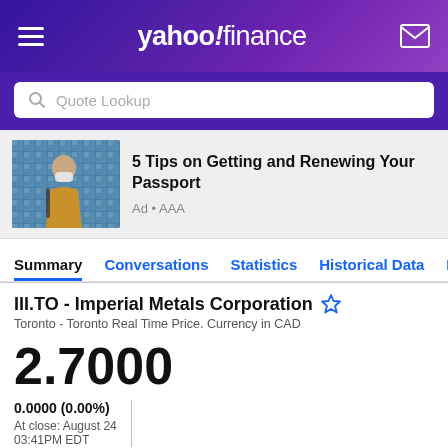yahoo!finance
Quote Lookup
[Figure (photo): Man wearing mask with backpack viewed from the side, passport-related advertisement image]
5 Tips on Getting and Renewing Your Passport
Ad • AAA
Summary  Conversations  Statistics  Historical Data  Pro
III.TO - Imperial Metals Corporation
Toronto - Toronto Real Time Price. Currency in CAD
2.7000
0.0000 (0.00%)
At close: August 24 03:41PM EDT